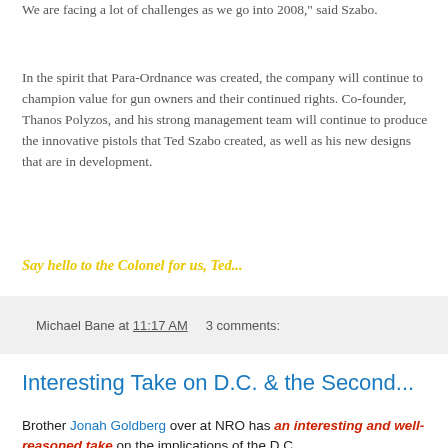We are facing a lot of challenges as we go into 2008," said Szabo.
In the spirit that Para-Ordnance was created, the company will continue to champion value for gun owners and their continued rights. Co-founder, Thanos Polyzos, and his strong management team will continue to produce the innovative pistols that Ted Szabo created, as well as his new designs that are in development.
Say hello to the Colonel for us, Ted...
Michael Bane at 11:17 AM   3 comments:
Interesting Take on D.C. & the Second...
Brother Jonah Goldberg over at NRO has an interesting and well-reasoned take on the implications of the D.C.